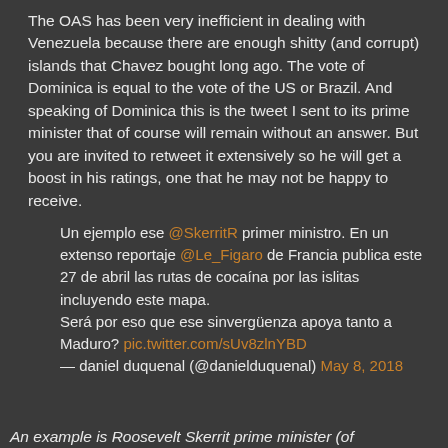The OAS has been very inefficient in dealing with Venezuela because there are enough shitty (and corrupt) islands that Chavez bought long ago. The vote of Dominica is equal to the vote of the US or Brazil. And speaking of Dominica this is the tweet I sent to its prime minister that of course will remain without an answer. But you are invited to retweet it extensively so he will get a boost in his ratings, one that he may not be happy to receive.
Un ejemplo ese @SkerritR primer ministro. En un extenso reportaje @Le_Figaro de Francia publica este 27 de abril las rutas de cocaína por las islitas incluyendo este mapa.
Será por eso que ese sinvergüenza apoya tanto a Maduro? pic.twitter.com/sUv8zlnYBD
— daniel duquenal (@danielduquenal) May 8, 2018
An example is Roosevelt Skerrit prime minister (of